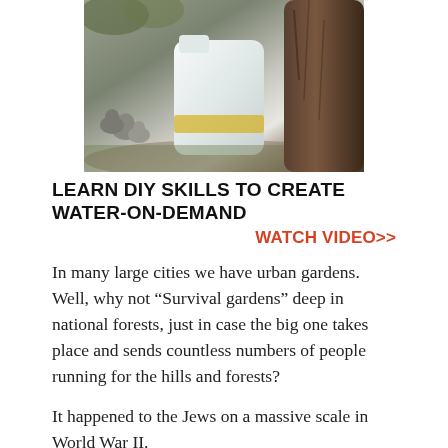[Figure (photo): Photograph of squirrels near a tree trunk with a white milk jug or container in the foreground]
LEARN DIY SKILLS TO CREATE WATER-ON-DEMAND
WATCH VIDEO>>
In many large cities we have urban gardens. Well, why not “Survival gardens” deep in national forests, just in case the big one takes place and sends countless numbers of people running for the hills and forests?
It happened to the Jews on a massive scale in World War II.